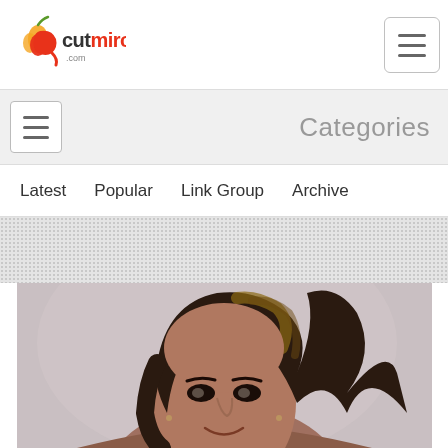cutmirchi.com logo and navigation hamburger
Categories
Latest  Popular  Link Group  Archive
[Figure (photo): Portrait photo of a woman with long dark brown hair with highlights, smiling, against a light grey/mauve background]